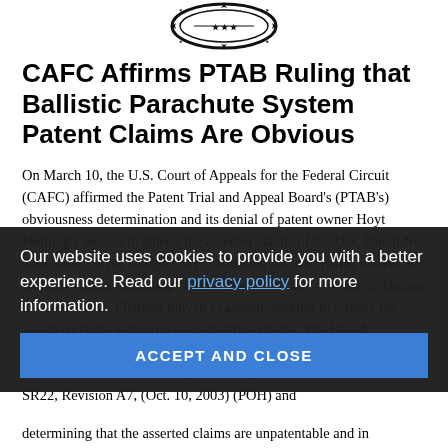[Figure (logo): Website logo or seal at top center of page]
CAFC Affirms PTAB Ruling that Ballistic Parachute System Patent Claims Are Obvious
On March 10, the U.S. Court of Appeals for the Federal Circuit (CAFC) affirmed the Patent Trial and Appeal Board's (PTAB's) obviousness determination and its denial of patent owner Hoyt Fleming's motion to amend the asserted claims of the U.S. Patent No. RE47,474. Cirrus Design Corp. petitioned for inter partes review of multiple claims, including claims 135-139, of the '474 patent. During the proceeding, Fleming moved to amend, seeking to replace the asserted claims with proposed substitute claims. The Board concluded that claims 137-139 were unpatentable as obvious over the combination of Cirrus Design's Pilot Operation Handbook for the SR22, Revision A7, (Oct. 10, 2003) (POH) and [text partially obscured] and that [text partially obscured] statutory and regulatory requirements for patentability because they [text partially obscured]
Our website uses cookies to provide you with a better experience. Read our privacy policy for more information.
ACCEPT AND CLOSE
determining that the asserted claims are unpatentable and in [text continues]